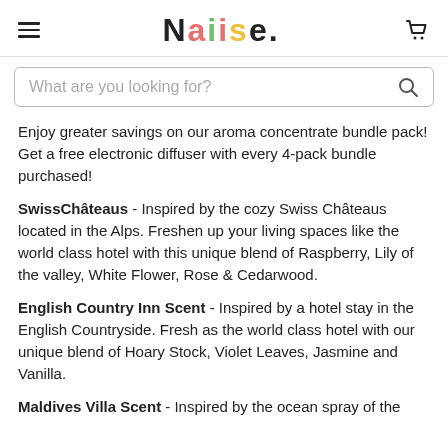Naiise.
What are you looking for?
Enjoy greater savings on our aroma concentrate bundle pack! Get a free electronic diffuser with every 4-pack bundle purchased!
SwissChâteaus - Inspired by the cozy Swiss Châteaus located in the Alps. Freshen up your living spaces like the world class hotel with this unique blend of Raspberry, Lily of the valley, White Flower, Rose & Cedarwood.
English Country Inn Scent - Inspired by a hotel stay in the English Countryside. Fresh as the world class hotel with our unique blend of Hoary Stock, Violet Leaves, Jasmine and Vanilla.
Maldives Villa Scent - Inspired by the ocean spray of the